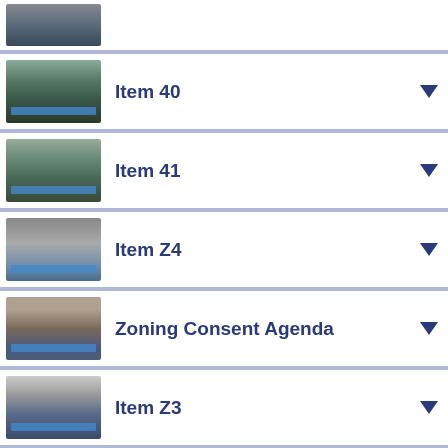[Figure (screenshot): Partial video thumbnail of council meeting at top of page]
Item 40
Item 41
Item Z4
Zoning Consent Agenda
Item Z3
Item Z5
Item Z6